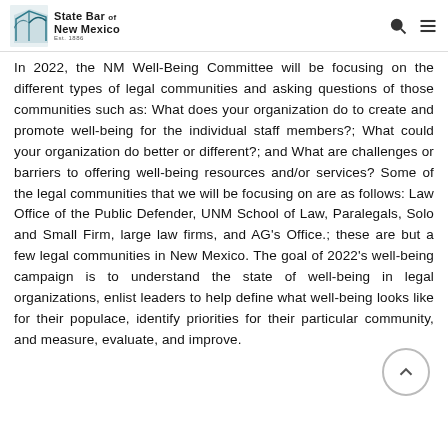State Bar of New Mexico Est. 1886
In 2022, the NM Well-Being Committee will be focusing on the different types of legal communities and asking questions of those communities such as: What does your organization do to create and promote well-being for the individual staff members?; What could your organization do better or different?; and What are challenges or barriers to offering well-being resources and/or services? Some of the legal communities that we will be focusing on are as follows: Law Office of the Public Defender, UNM School of Law, Paralegals, Solo and Small Firm, large law firms, and AG's Office.; these are but a few legal communities in New Mexico. The goal of 2022's well-being campaign is to understand the state of well-being in legal organizations, enlist leaders to help define what well-being looks like for their populace, identify priorities for their particular community, and measure, evaluate, and improve.